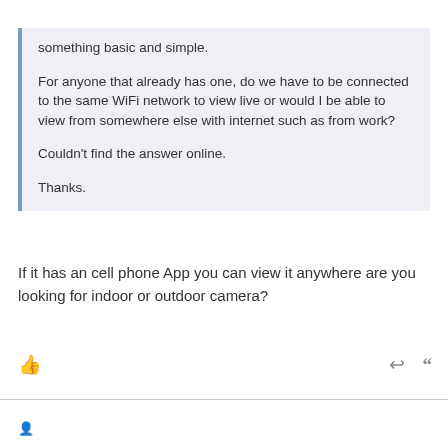something basic and simple.

For anyone that already has one, do we have to be connected to the same WiFi network to view live or would I be able to view from somewhere else with internet such as from work?

Couldn't find the answer online.

Thanks.
If it has an cell phone App you can view it anywhere are you looking for indoor or outdoor camera?